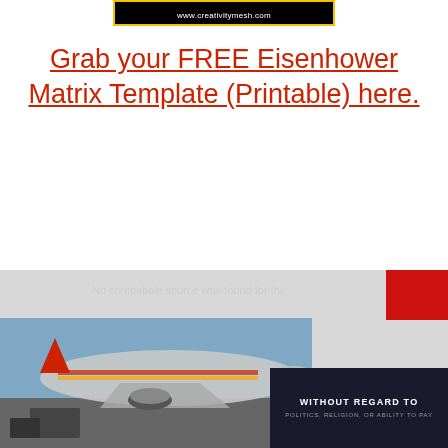www.creativitymesh.com
Grab your FREE Eisenhower Matrix Template (Printable) here.
[Figure (photo): Bottom advertisement area showing an airplane being loaded with cargo on a tarmac, with a dark panel on the right reading 'WITHOUT REGARD TO POLITICS, RELIGION, OR ABILITY TO PAY' and a red badge in the top-right corner. A 'No compatible source was found for this' overlay text is visible.]